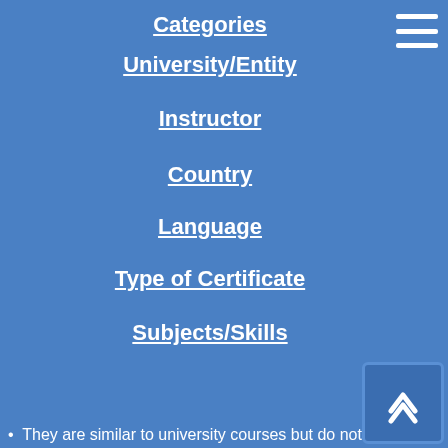Categories
University/Entity
Instructor
Country
Language
Type of Certificate
Subjects/Skills
This website uses cookies to help us provide you a better experience. By clicking any link on this page you are giving your consent for us to set cookies. Learn more
Got it!
They are similar to university courses but do not tend to